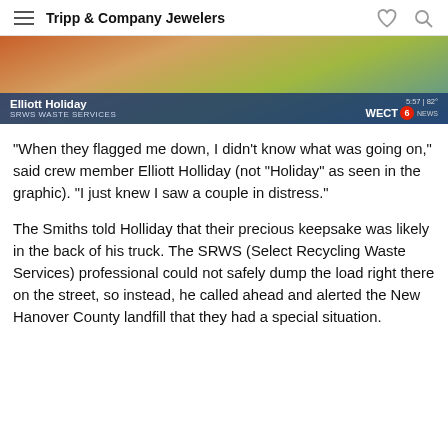Tripp & Company Jewelers
[Figure (screenshot): News broadcast screenshot showing Elliott Holiday from SRWS Waste Services, with WECT News logo and timestamp 5:57 | 82°]
“When they flagged me down, I didn’t know what was going on,” said crew member Elliott Holliday (not “Holiday” as seen in the graphic). “I just knew I saw a couple in distress.”
The Smiths told Holliday that their precious keepsake was likely in the back of his truck. The SRWS (Select Recycling Waste Services) professional could not safely dump the load right there on the street, so instead, he called ahead and alerted the New Hanover County landfill that they had a special situation.